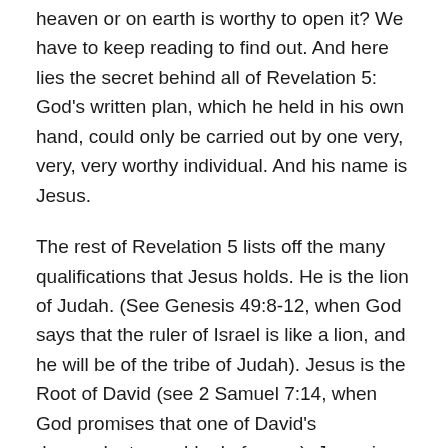heaven or on earth is worthy to open it? We have to keep reading to find out. And here lies the secret behind all of Revelation 5: God's written plan, which he held in his own hand, could only be carried out by one very, very, very worthy individual. And his name is Jesus.
The rest of Revelation 5 lists off the many qualifications that Jesus holds. He is the lion of Judah. (See Genesis 49:8-12, when God says that the ruler of Israel is like a lion, and he will be of the tribe of Judah). Jesus is the Root of David (see 2 Samuel 7:14, when God promises that one of David's descendants would rule forever). Jesus is the lamb that was slain (read about the passover lamb in Exodus 12, and how Paul calls Jesus our Passover lamb in 1 Corinthians 5:7). We see how these immensely powerful creatures, who dwell constantly in the presence of God, sing about this important role of Jesus– that he